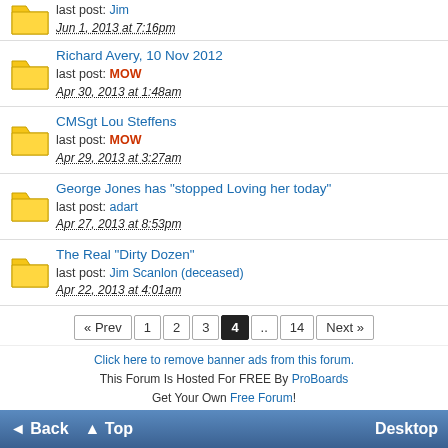Richard Avery, 10 Nov 2012 — last post: MOW — Apr 30, 2013 at 1:48am
CMSgt Lou Steffens — last post: MOW — Apr 29, 2013 at 3:27am
George Jones has "stopped Loving her today" — last post: adart — Apr 27, 2013 at 8:53pm
The Real "Dirty Dozen" — last post: Jim Scanlon (deceased) — Apr 22, 2013 at 4:01am
« Prev  1  2  3  4  ..  14  Next »
Click here to remove banner ads from this forum.
This Forum Is Hosted For FREE By ProBoards
Get Your Own Free Forum!
Terms of Service  Privacy  Cookies  FTC Disclosure  Report Abuse  Do Not Sell My Personal Information
◄ Back  ▲ Top  Desktop